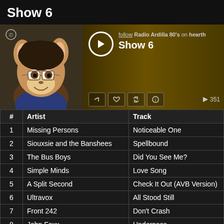Show 6
[Figure (screenshot): Music player widget for Radio Ardilla 80's Show 6, showing album art of a cartoon squirrel character with glasses, a play button, follow link, share/like/repost/info icon buttons, and a play count of 351.]
| # | Artist | Track |
| --- | --- | --- |
| 1 | Missing Persons | Noticeable One |
| 2 | Siouxsie and the Banshees | Spellbound |
| 3 | The Bus Boys | Did You See Me? |
| 4 | Simple Minds | Love Song |
| 5 | A Split Second | Check It Out (AVB Version) |
| 6 | Ultravox | All Stood Still |
| 7 | Front 242 | Don't Crash |
| 8 | John Foxx | Underpass |
| 9 | Skinny Puppy | Far Too Frail |
| 10 | XTC | Generals and Majors |